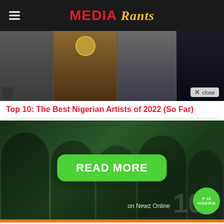MEDIA Rants
[Figure (photo): Collage of Nigerian artists, split into 4 sections showing jewelry, torso with chain, man in suit, and man with drink]
Top 10: The Best Nigerian Artists of 2022 (So Far)
[Figure (photo): Dark green toned photo of group of people with a large green READ MORE button overlay, and a Nigeria Top 10 badge in bottom right]
on Newz Online